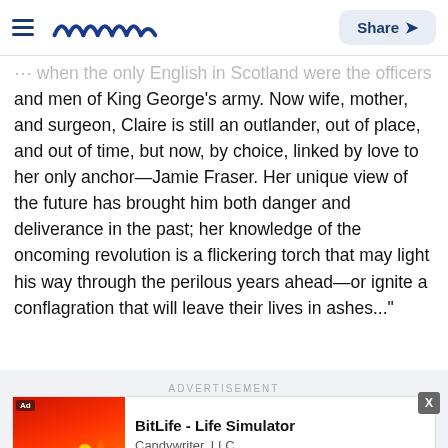Meanvvv [logo] | Share
...when the only English in Scotland were the officers and men of King George's army. Now wife, mother, and surgeon, Claire is still an outlander, out of place, and out of time, but now, by choice, linked by love to her only anchor—Jamie Fraser. Her unique view of the future has brought him both danger and deliverance in the past; her knowledge of the oncoming revolution is a flickering torch that may light his way through the perilous years ahead—or ignite a conflagration that will leave their lives in ashes..."
ADVERTISEMENT
[Figure (screenshot): Advertisement banner for BitLife - Life Simulator by Candywriter, LLC with app icon showing a game scene with red background]